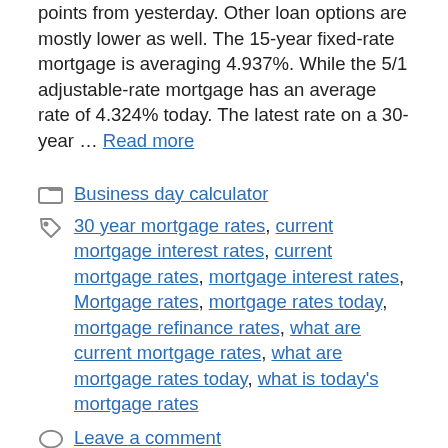points from yesterday. Other loan options are mostly lower as well. The 15-year fixed-rate mortgage is averaging 4.937%. While the 5/1 adjustable-rate mortgage has an average rate of 4.324% today. The latest rate on a 30-year … Read more
Business day calculator
30 year mortgage rates, current mortgage interest rates, current mortgage rates, mortgage interest rates, Mortgage rates, mortgage rates today, mortgage refinance rates, what are current mortgage rates, what are mortgage rates today, what is today's mortgage rates
Leave a comment